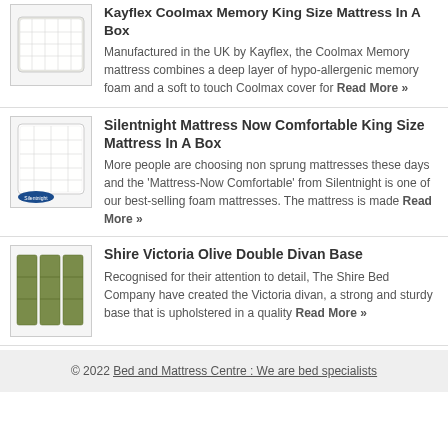[Figure (photo): Kayflex Coolmax Memory mattress product image, white quilted mattress]
Kayflex Coolmax Memory King Size Mattress In A Box
Manufactured in the UK by Kayflex, the Coolmax Memory mattress combines a deep layer of hypo-allergenic memory foam and a soft to touch Coolmax cover for Read More »
[Figure (photo): Silentnight mattress product image, white mattress with blue Silentnight branding]
Silentnight Mattress Now Comfortable King Size Mattress In A Box
More people are choosing non sprung mattresses these days and the 'Mattress-Now Comfortable' from Silentnight is one of our best-selling foam mattresses. The mattress is made Read More »
[Figure (photo): Shire Victoria Olive divan base product image, olive green upholstered headboard panels]
Shire Victoria Olive Double Divan Base
Recognised for their attention to detail, The Shire Bed Company have created the Victoria divan, a strong and sturdy base that is upholstered in a quality Read More »
© 2022 Bed and Mattress Centre : We are bed specialists